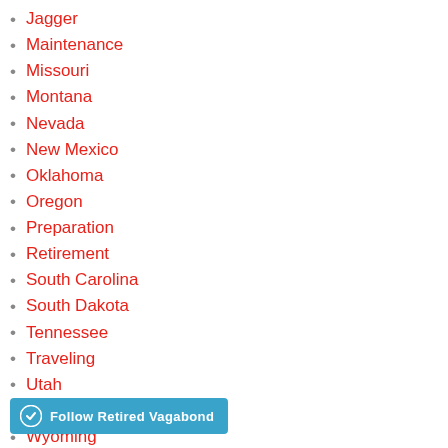Jagger
Maintenance
Missouri
Montana
Nevada
New Mexico
Oklahoma
Oregon
Preparation
Retirement
South Carolina
South Dakota
Tennessee
Traveling
Utah
Washington
Wyoming
Follow Retired Vagabond